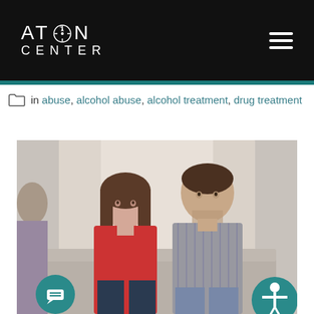[Figure (logo): Aton Center logo with compass icon on black background, with hamburger menu icon on the right]
in abuse, alcohol abuse, alcohol treatment, drug treatment
[Figure (photo): A couple sitting on a couch in a therapy session. Woman in red sweater and man in gray striped shirt looking at each other. Counselor partially visible on the left.]